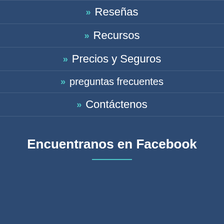» Reseñas
» Recursos
» Precios y Seguros
» preguntas frecuentes
» Contáctenos
Encuentranos en Facebook